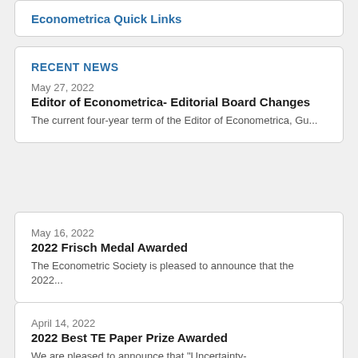Econometrica Quick Links
RECENT NEWS
May 27, 2022
Editor of Econometrica- Editorial Board Changes
The current four-year term of the Editor of Econometrica, Gu...
May 16, 2022
2022 Frisch Medal Awarded
The Econometric Society is pleased to announce that the 2022...
April 14, 2022
2022 Best TE Paper Prize Awarded
We are pleased to announce that "Uncertainty-